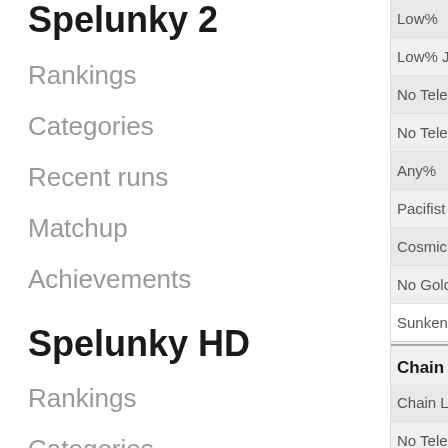Spelunky 2
Rankings
Categories
Recent runs
Matchup
Achievements
Spelunky HD
Rankings
Categories
Recent runs
Matchup
Low%
Low% Jung
No Telepo
No Telepo
Any%
Pacifist Lo
Cosmic Oc
No Gold
Sunken Cit
Chain
Chain Low%
No Telepo
No Telepo